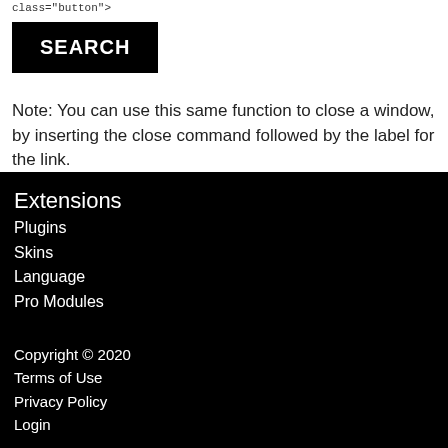class="button">
[Figure (screenshot): Black button with white bold text reading SEARCH]
Note: You can use this same function to close a window, by inserting the close command followed by the label for the link.
<(popup close "Close Window")>
Extensions
Plugins
Skins
Language
Pro Modules
Copyright © 2020
Terms of Use
Privacy Policy
Login